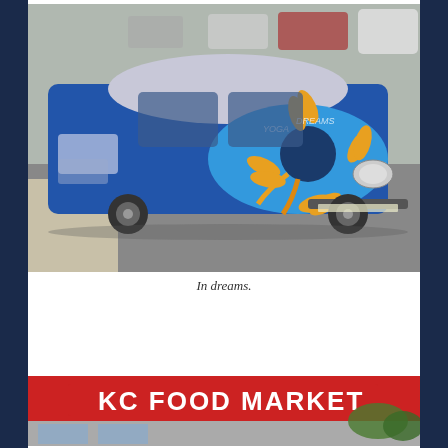[Figure (photo): A colorfully painted car with blue and orange sun/octopus artwork covering the hood and body, parked on a city street. Other cars visible in background.]
In dreams.
[Figure (photo): Storefront of KC Food Market with red awning and large white letters on the sign.]